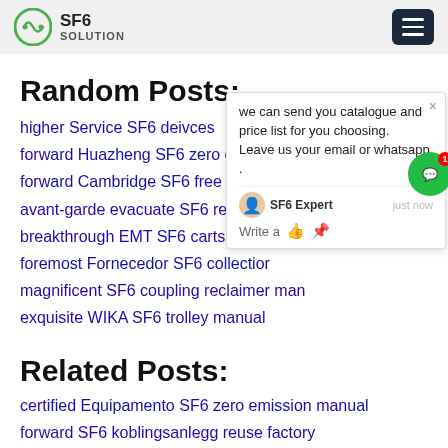SF6 SOLUTION
Random Posts:
higher Service SF6 deivces
forward Huazheng SF6 zero emission fo...
forward Cambridge SF6 free pricing
avant-garde evacuate SF6 rentals for sa...
breakthrough EMT SF6 carts cost
foremost Fornecedor SF6 collection...
magnificent SF6 coupling reclaimer man...
exquisite WIKA SF6 trolley manual
[Figure (screenshot): Chat popup with message: we can send you catalogue and price list for you choosing. Leave us your email or whatsapp. SF6 Expert - just now. Write a [thumbs up] [paperclip]]
Related Posts:
certified Equipamento SF6 zero emission manual
forward SF6 koblingsanlegg reuse factory
gru-7 SF6 evacuation bid